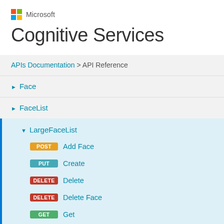Microsoft
Cognitive Services
APIs Documentation > API Reference
Face
FaceList
LargeFaceList
POST  Add Face
PUT  Create
DELETE  Delete
DELETE  Delete Face
GET  Get